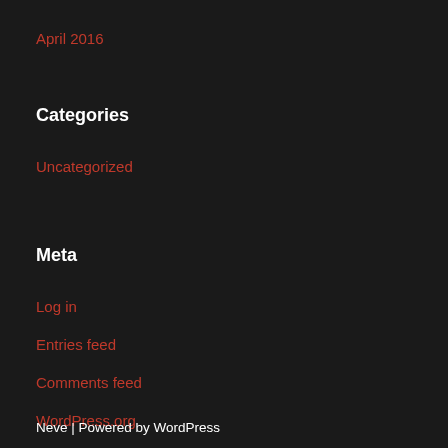April 2016
Categories
Uncategorized
Meta
Log in
Entries feed
Comments feed
WordPress.org
Neve | Powered by WordPress